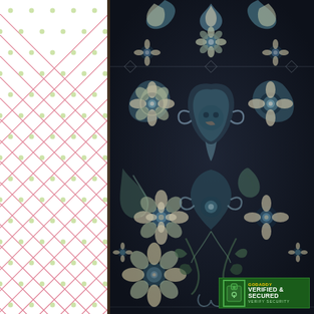[Figure (illustration): Left panel: white background with a repeating pink/rose diamond lattice trellis pattern with small green flower/dot accents at intersection points, framed by a narrow brown/dark vertical border strip on the right edge.]
[Figure (photo): Right panel: dark navy/black background fabric with dense symmetrical floral and botanical damask pattern in teal, blue, cream/ivory, taupe and brown tones. Features large stylized flowers, acanthus leaves, scrolling vines and mirror-image motifs characteristic of traditional tapestry or chintz fabric.]
[Figure (logo): GoDaddy 'Verified & Secured' SSL trust badge in bottom-right corner. Green rectangular badge with lock icon on left, 'GODADDY' in yellow text, 'VERIFIED & SECURED' in white bold text, and 'VERIFY SECURITY' in small text below.]